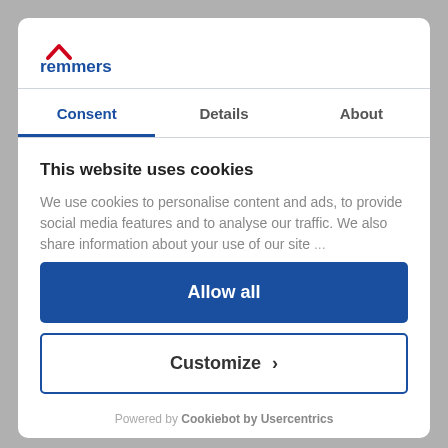[Figure (logo): Remmers logo with red roof icon and blue text]
Consent | Details | About
This website uses cookies
We use cookies to personalise content and ads, to provide social media features and to analyse our traffic. We also share information about your use of our site...
Allow all
Customize >
Powered by Cookiebot by Usercentrics